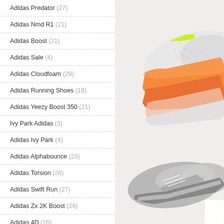Adidas Predator (27)
Adidas Nmd R1 (21)
Adidas Boost (21)
Adidas Sale (4)
Adidas Cloudfoam (29)
Adidas Running Shoes (19)
Adidas Yeezy Boost 350 (21)
Ivy Park Adidas (3)
Adidas Ivy Park (4)
Adidas Alphabounce (23)
Adidas Torsion (28)
Adidas Swift Run (27)
Adidas Zx 2K Boost (28)
Adidas 4D (26)
Adidas Tubular (23)
Adidas Sandals (28)
[Figure (photo): Close-up of white and orange Adidas sneaker sole/upper, and a silver/grey Adidas sneaker at the bottom right corner on light grey background]